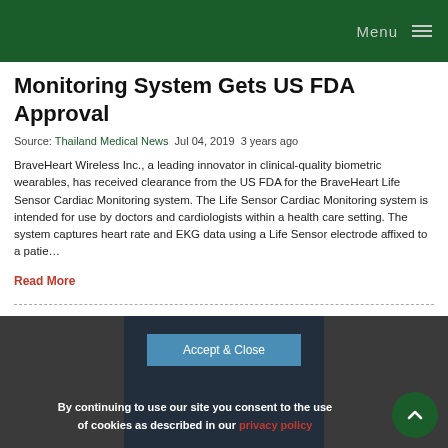Menu
Monitoring System Gets US FDA Approval
Source: Thailand Medical News  Jul 04, 2019  3 years ago
BraveHeart Wireless Inc., a leading innovator in clinical-quality biometric wearables, has received clearance from the US FDA for the BraveHeart Life Sensor Cardiac Monitoring system. The Life Sensor Cardiac Monitoring system is intended for use by doctors and cardiologists within a health care setting. The system captures heart rate and EKG data using a Life Sensor electrode affixed to a patie…
Read More
By continuing to use our site you consent to the use of cookies as described in our privacy policy